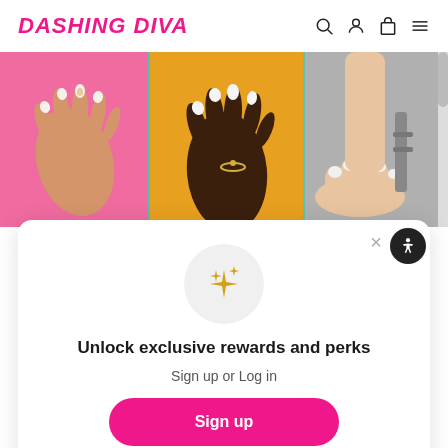DASHING DIVA
[Figure (photo): Three panels showing diverse hands and feet with nail art on colorful backgrounds (pink, orange, gray). A scrollbar is visible on the right.]
[Figure (infographic): Modal popup with sparkle emoji icon in gray circle, heading 'Unlock exclusive rewards and perks', subtext 'Sign up or Log in', a pink 'Sign up' button, and 'Already have an account? Sign in' text. Close X button and accessibility icon button visible.]